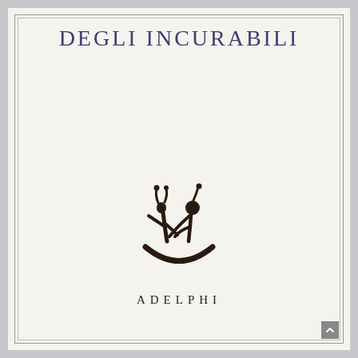DEGLI INCURABILI
[Figure (logo): Adelphi publisher logo: stylized abstract figure resembling two figures in a boat, rendered in dark brown/black ink]
ADELPHI